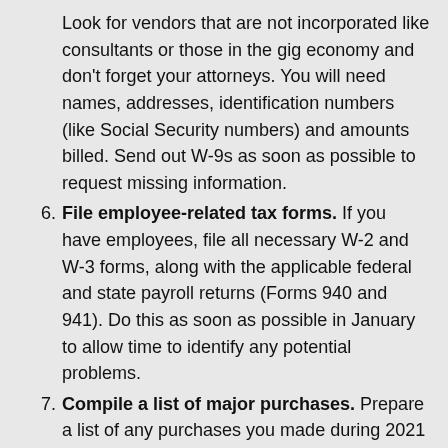Look for vendors that are not incorporated like consultants or those in the gig economy and don't forget your attorneys. You will need names, addresses, identification numbers (like Social Security numbers) and amounts billed. Send out W-9s as soon as possible to request missing information.
File employee-related tax forms. If you have employees, file all necessary W-2 and W-3 forms, along with the applicable federal and state payroll returns (Forms 940 and 941). Do this as soon as possible in January to allow time to identify any potential problems.
Compile a list of major purchases. Prepare a list of any purchases you made during 2021 that resulted in your business receiving an invoice for $2,500 or more. Once the list is compiled, find detailed invoices that support the purchase and create a fixed asset file. This spending will be needed to